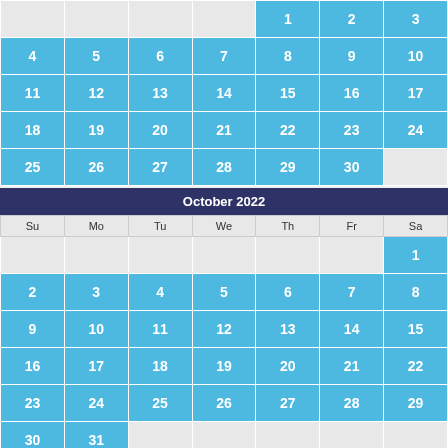| Su | Mo | Tu | We | Th | Fr | Sa |
| --- | --- | --- | --- | --- | --- | --- |
|  |  |  |  | 1 | 2 | 3 |
| 4 | 5 | 6 | 7 | 8 | 9 | 10 |
| 11 | 12 | 13 | 14 | 15 | 16 | 17 |
| 18 | 19 | 20 | 21 | 22 | 23 | 24 |
| 25 | 26 | 27 | 28 | 29 | 30 |  |
October 2022
| Su | Mo | Tu | We | Th | Fr | Sa |
| --- | --- | --- | --- | --- | --- | --- |
|  |  |  |  |  |  | 1 |
| 2 | 3 | 4 | 5 | 6 | 7 | 8 |
| 9 | 10 | 11 | 12 | 13 | 14 | 15 |
| 16 | 17 | 18 | 19 | 20 | 21 | 22 |
| 23 | 24 | 25 | 26 | 27 | 28 | 29 |
| 30 | 31 |  |  |  |  |  |
November 2022
| Su | Mo | Tu | We | Th | Fr | Sa |
| --- | --- | --- | --- | --- | --- | --- |
|  |  | 1 | 2 | 3 | 4 |  |
| 6 | 7 | 8 | 9 | 10 | 11 |  |